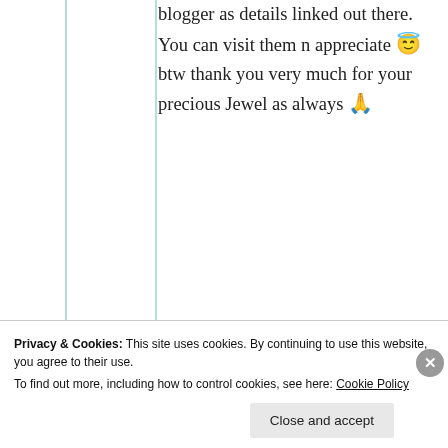blogger as details linked out there. You can visit them n appreciate 😇 btw thank you very much for your precious Jewel as always 🙏
★ Like
mildredprince
Privacy & Cookies: This site uses cookies. By continuing to use this website, you agree to their use. To find out more, including how to control cookies, see here: Cookie Policy
Close and accept